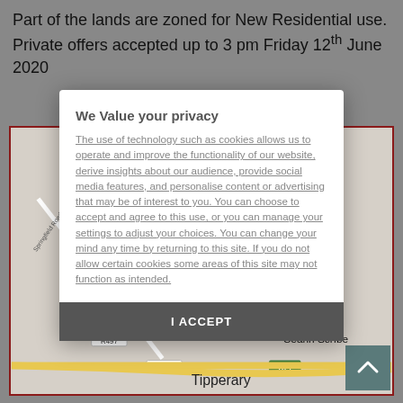Part of the lands are zoned for New Residential use. Private offers accepted up to 3 pm Friday 12th June 2020
[Figure (map): Road map showing Kingswell, Rossmore, Neighbourhood Centre, Carronreddy, Ceann Scríbe, Tipperary, LAKE ROAD HALTING SITE, ROSANNA, Springfield Road, R497, R661, H74 roads.]
We Value your privacy

The use of technology such as cookies allows us to operate and improve the functionality of our website, derive insights about our audience, provide social media features, and personalise content or advertising that may be of interest to you. You can choose to accept and agree to this use, or you can manage your settings to adjust your choices. You can change your mind any time by returning to this site. If you do not allow certain cookies some areas of this site may not function as intended.

I ACCEPT